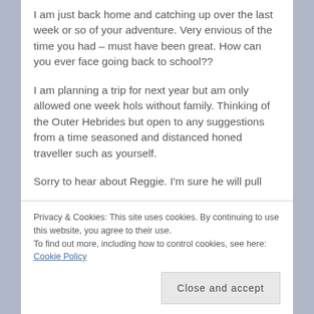I am just back home and catching up over the last week or so of your adventure. Very envious of the time you had – must have been great. How can you ever face going back to school??
I am planning a trip for next year but am only allowed one week hols without family. Thinking of the Outer Hebrides but open to any suggestions from a time seasoned and distanced honed traveller such as yourself.
Sorry to hear about Reggie. I'm sure he will pull
Privacy & Cookies: This site uses cookies. By continuing to use this website, you agree to their use.
To find out more, including how to control cookies, see here: Cookie Policy